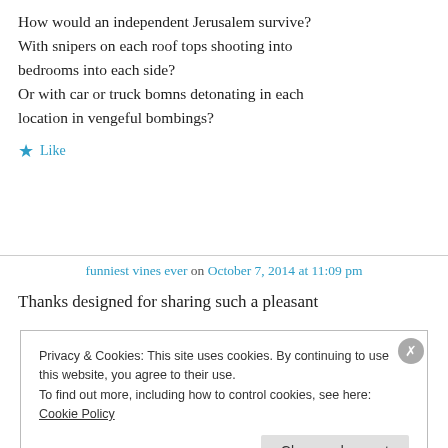How would an independent Jerusalem survive? With snipers on each roof tops shooting into bedrooms into each side?
Or with car or truck bomns detonating in each location in vengeful bombings?
Like
funniest vines ever on October 7, 2014 at 11:09 pm
Thanks designed for sharing such a pleasant
Privacy & Cookies: This site uses cookies. By continuing to use this website, you agree to their use.
To find out more, including how to control cookies, see here: Cookie Policy
Close and accept